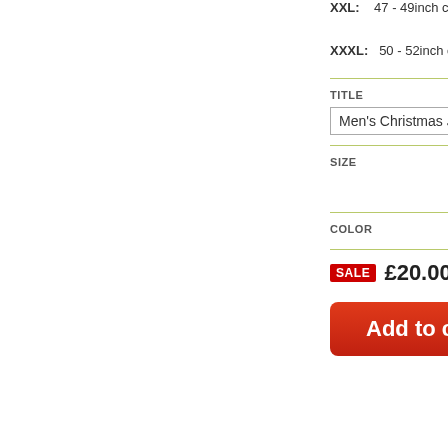XXL: 47 - 49inch che
XXXL: 50 - 52inch che
TITLE
Men's Christmas Jumper Roundn
SIZE
COLOR
SALE £20.00 GBP wa
Add to cart